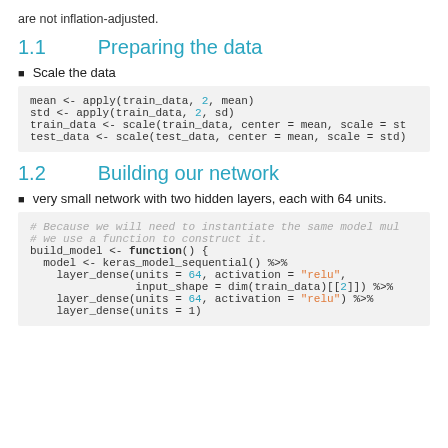are not inflation-adjusted.
1.1   Preparing the data
Scale the data
1.2   Building our network
very small network with two hidden layers, each with 64 units.